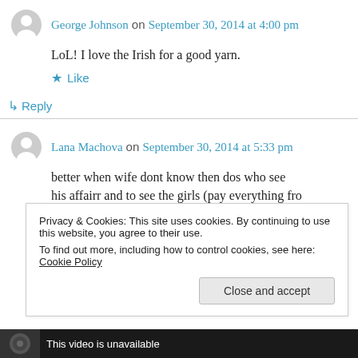George Johnson on September 30, 2014 at 4:00 pm
LoL! I love the Irish for a good yarn.
★ Like
↳ Reply
Lana Machova on September 30, 2014 at 5:33 pm
better when wife dont know then dos who see his affairr and to see the girls (pay everything fro
Privacy & Cookies: This site uses cookies. By continuing to use this website, you agree to their use. To find out more, including how to control cookies, see here: Cookie Policy
Close and accept
This video is unavailable